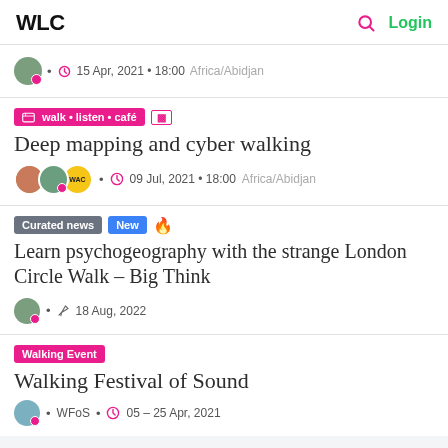WLC  Login
13 Apr, 2021 • 18:00 Africa/Abidjan
walk • listen • café
Deep mapping and cyber walking
09 Jul, 2021 • 18:00 Africa/Abidjan
Curated news  New
Learn psychogeography with the strange London Circle Walk – Big Think
18 Aug, 2022
Walking Event
Walking Festival of Sound
WFoS • 05 – 25 Apr, 2021